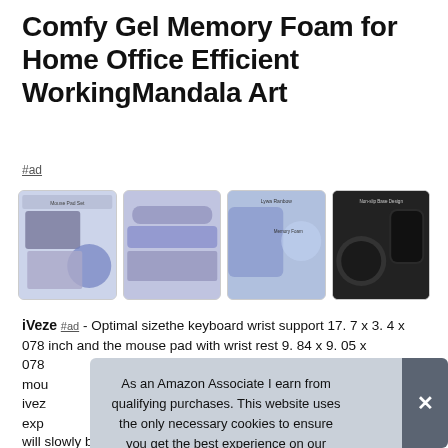Comfy Gel Memory Foam for Home Office Efficient Working⁠Mandala Art
#ad
[Figure (photo): Four product images showing a gel memory foam keyboard wrist rest and mouse pad set with mandala art design]
iVeze #ad - Optimal sizethe keyboard wrist support 17. 7 x 3. 4 x 078 inch and the mouse pad with wrist rest 9. 84 x 9. 05 x 078 ... mouse ... iveze ... expe ...
As an Amazon Associate I earn from qualifying purchases. This website uses the only necessary cookies to ensure you get the best experience on our website. More information
will slowly bounce back when your hand leave it, not easy to